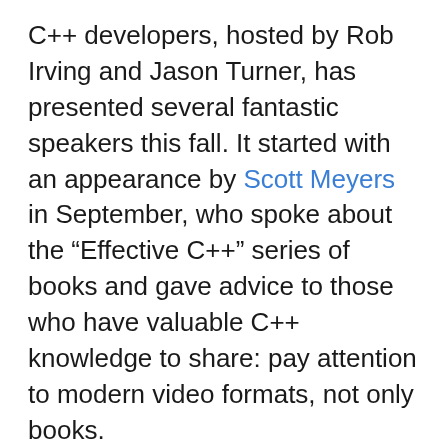C++ developers, hosted by Rob Irving and Jason Turner, has presented several fantastic speakers this fall. It started with an appearance by Scott Meyers in September, who spoke about the “Effective C++” series of books and gave advice to those who have valuable C++ knowledge to share: pay attention to modern video formats, not only books.
Another episode has Andrei Alexandrescu talking about C++ and D, and reasons why programming languages succeed or fail. Kate Gregory, this year’s Open Content